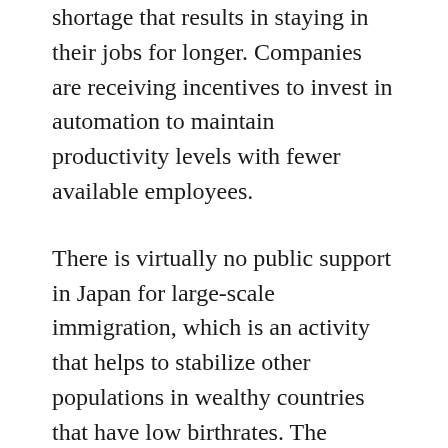shortage that results in staying in their jobs for longer. Companies are receiving incentives to invest in automation to maintain productivity levels with fewer available employees.
There is virtually no public support in Japan for large-scale immigration, which is an activity that helps to stabilize other populations in wealthy countries that have low birthrates. The government has also discovered that encouraging couples to have more children has only created moderate benefits.
Not all of the news is bad for Japan in this area. The birthrates from today are up slightly from where they were over a decade ago. A decisive